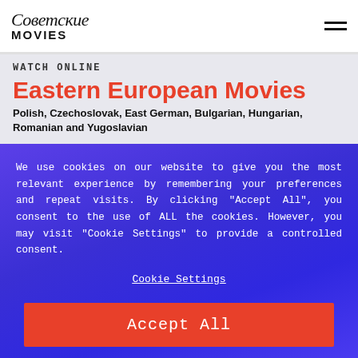Советские Movies
WATCH ONLINE
Eastern European Movies
Polish, Czechoslovak, East German, Bulgarian, Hungarian, Romanian and Yugoslavian
We use cookies on our website to give you the most relevant experience by remembering your preferences and repeat visits. By clicking "Accept All", you consent to the use of ALL the cookies. However, you may visit "Cookie Settings" to provide a controlled consent.
Cookie Settings
Accept All